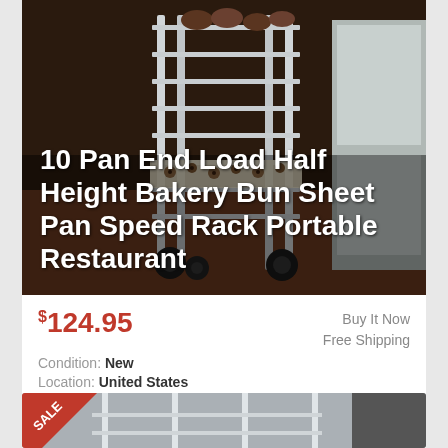[Figure (photo): Aluminium bakery bun sheet pan speed rack with multiple shelves loaded with cookies and muffins, on wheels, in a commercial kitchen setting.]
10 Pan End Load Half Height Bakery Bun Sheet Pan Speed Rack Portable Restaurant
$124.95  Buy It Now  Free Shipping  Condition: New  Location: United States  For the ultimate in durability, check out the Regency 10 pan end load half height sheet pan rack. Use this product to hold and transport pans full of ... more
[Figure (photo): Partial view of a second product listing showing a rack with a red SALE banner in the corner.]